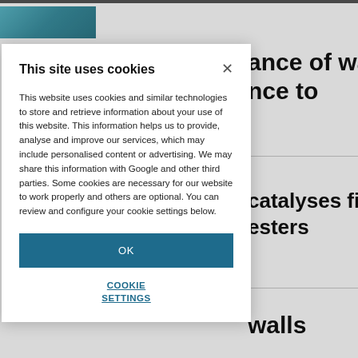[Figure (screenshot): Background webpage content showing partial article headings about water, with a teal image strip at top and horizontal dividers between sections. Text fragments visible: 'ance of water', 'nce to', 'catalyses first', 'esters', 'walls'.]
This site uses cookies
This website uses cookies and similar technologies to store and retrieve information about your use of this website. This information helps us to provide, analyse and improve our services, which may include personalised content or advertising. We may share this information with Google and other third parties. Some cookies are necessary for our website to work properly and others are optional. You can review and configure your cookie settings below.
OK
COOKIE SETTINGS